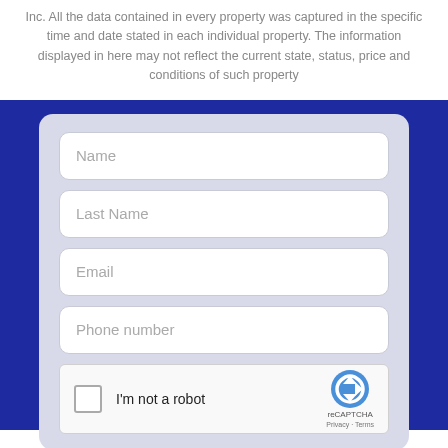Inc. All the data contained in every property was captured in the specific time and date stated in each individual property. The information displayed in here may not reflect the current state, status, price and conditions of such property
[Figure (screenshot): A web contact form with a dark blue background and a light gray card containing four input fields (Name, Last Name, Email, Phone number) and a reCAPTCHA widget.]